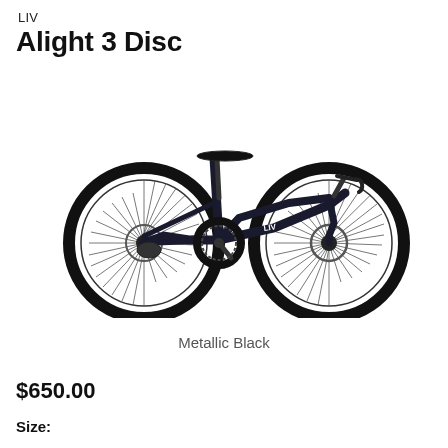LIV
Alight 3 Disc
[Figure (photo): Liv Alight 3 Disc bicycle in Metallic Black color, side view showing full bike with two wheels, disc brakes, dropped step-through frame, saddle, handlebars, and drivetrain components]
Metallic Black
$650.00
Size: